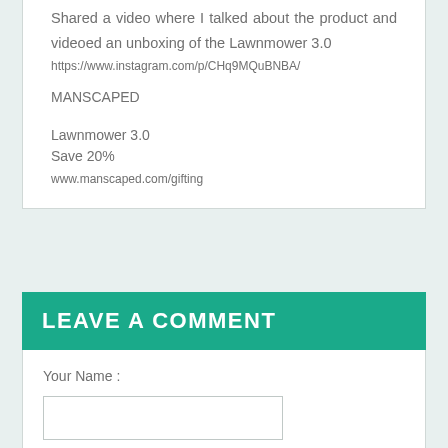Shared a video where I talked about the product and videoed an unboxing of the Lawnmower 3.0
https://www.instagram.com/p/CHq9MQuBNBA/
MANSCAPED
Lawnmower 3.0
Save 20%
www.manscaped.com/gifting
LEAVE A COMMENT
Your Name :